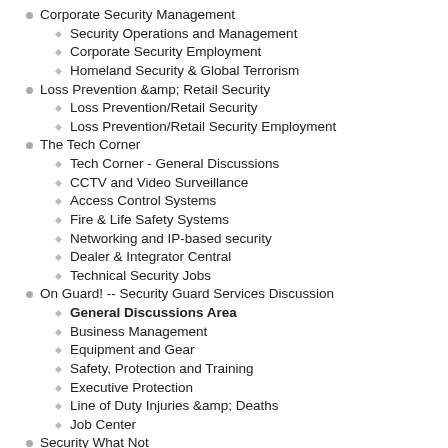Corporate Security Management
Security Operations and Management
Corporate Security Employment
Homeland Security & Global Terrorism
Loss Prevention &amp; Retail Security
Loss Prevention/Retail Security
Loss Prevention/Retail Security Employment
The Tech Corner
Tech Corner - General Discussions
CCTV and Video Surveillance
Access Control Systems
Fire & Life Safety Systems
Networking and IP-based security
Dealer & Integrator Central
Technical Security Jobs
On Guard! -- Security Guard Services Discussion
General Discussions Area
Business Management
Equipment and Gear
Safety, Protection and Training
Executive Protection
Line of Duty Injuries &amp; Deaths
Job Center
Security What Not
Ask Security a Question
Off Topic (non-security issues)
Vendor Forum
The Burn Barrel
Bugs, Glitches and Site Fixes
Groups
Uncategorized Groups
Uncategorized